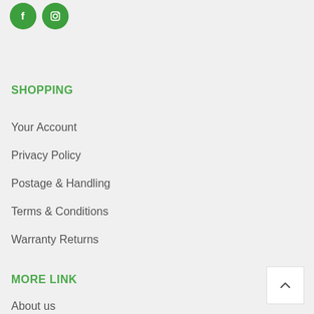[Figure (illustration): Two green circular social media icons: Facebook (f) and Instagram (camera icon)]
SHOPPING
Your Account
Privacy Policy
Postage & Handling
Terms & Conditions
Warranty Returns
MORE LINK
About us
[Figure (illustration): Back to top button with upward chevron arrow, white background with light border]